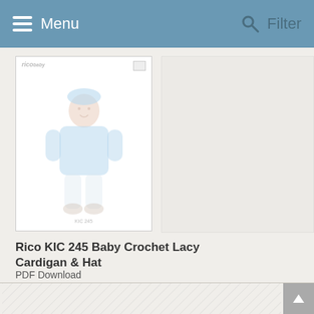Menu  Filter
[Figure (screenshot): Product listing screenshot showing a Rico KIC 245 Baby Crochet Lacy Cardigan & Hat pattern cover image. The cover shows a baby wearing a light blue cardigan and hat. The image is slightly faded/washed out. On the right side there is a faded second product card partially visible.]
Rico KIC 245 Baby Crochet Lacy Cardigan & Hat
PDF Download
▶ 2 patterns
FROM: $4.20